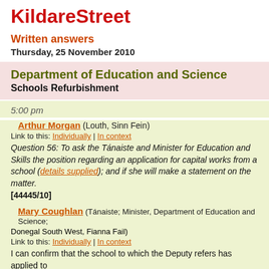KildareStreet
Written answers
Thursday, 25 November 2010
Department of Education and Science
Schools Refurbishment
5:00 pm
Arthur Morgan (Louth, Sinn Fein)
Link to this: Individually | In context
Question 56: To ask the Tánaiste and Minister for Education and Skills the position regarding an application for capital works from a school (details supplied); and if she will make a statement on the matter. [44445/10]
Mary Coughlan (Tánaiste; Minister, Department of Education and Science; Donegal South West, Fianna Fail)
Link to this: Individually | In context
I can confirm that the school to which the Deputy refers has applied to